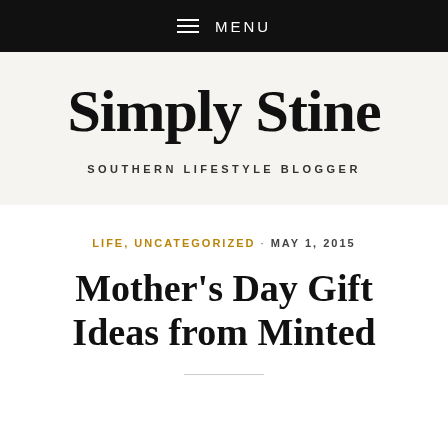≡ MENU
Simply Stine
SOUTHERN LIFESTYLE BLOGGER
LIFE, UNCATEGORIZED · MAY 1, 2015
Mother's Day Gift Ideas from Minted